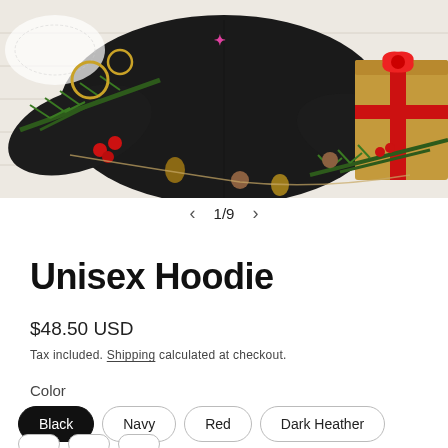[Figure (photo): Black sweatshirt/hoodie laid flat on a white wooden surface surrounded by Christmas decorations including pine branches, red berries, pine cones, a wrapped kraft paper gift with red ribbon. A pink logo is visible on the upper chest area of the garment.]
1/9
Unisex Hoodie
$48.50 USD
Tax included. Shipping calculated at checkout.
Color
Black
Navy
Red
Dark Heather